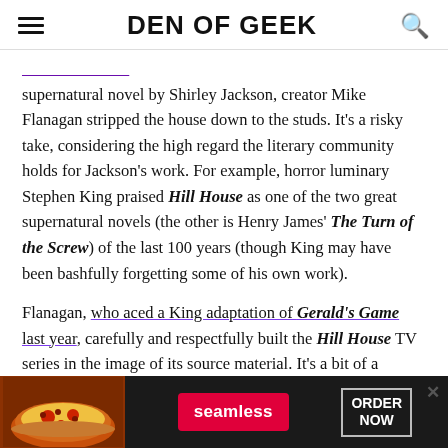DEN OF GEEK
supernatural novel by Shirley Jackson, creator Mike Flanagan stripped the house down to the studs. It's a risky take, considering the high regard the literary community holds for Jackson's work. For example, horror luminary Stephen King praised Hill House as one of the two great supernatural novels (the other is Henry James' The Turn of the Screw) of the last 100 years (though King may have been bashfully forgetting some of his own work).
Flanagan, who aced a King adaptation of Gerald's Game last year, carefully and respectfully built the Hill House TV series in the image of its source material. It's a bit of a beautiful illusion though as the framework has been reimagined and updated as a terrifying tale for a new
[Figure (other): Seamless food delivery advertisement banner with pizza image, Seamless logo button, and ORDER NOW button]